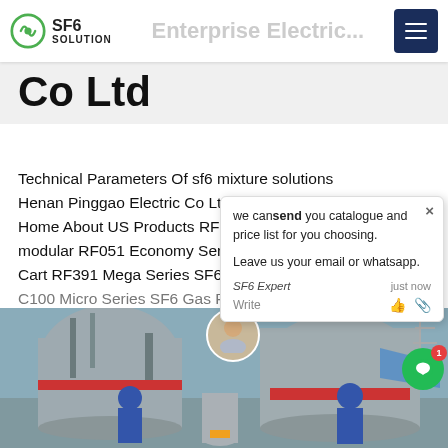SF6 SOLUTION
Co Ltd
Technical Parameters Of sf6 mixture solutions Henan Pinggao Electric Co Ltd SF6 Service Car Home About US Products RF08 Mini modular RF051 Economy Series SF6 Filling Cart RF391 Mega Series SF6 Gas R C100 Micro Series SF6 Gas Recycle
[Figure (photo): Two workers in blue hard hats and overalls working on industrial SF6 gas handling equipment outdoors. Large grey cylindrical vessels and red-banded cylinders visible. Power transmission infrastructure in background.]